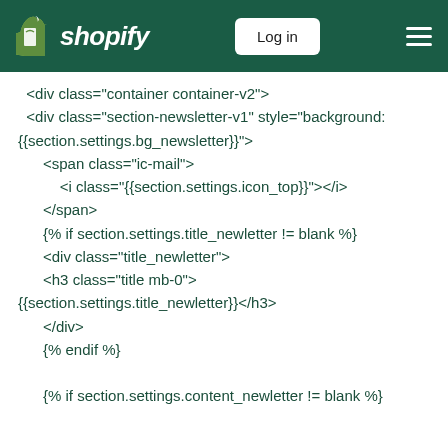Shopify — Log in
<div class="container container-v2">
  <div class="section-newsletter-v1" style="background: {{section.settings.bg_newsletter}}">
      <span class="ic-mail">
          <i class="{{section.settings.icon_top}}"></i>
      </span>
      {% if section.settings.title_newletter != blank %}
      <div class="title_newletter">
      <h3 class="title mb-0">
{{section.settings.title_newletter}}</h3>
      </div>
      {% endif %}

      {% if section.settings.content_newletter != blank %}